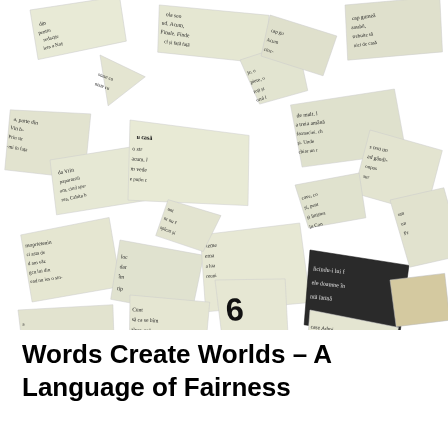[Figure (photo): A photograph of many torn paper scraps with printed Romanian text scattered across a white background. The scraps are various shapes and sizes, overlapping each other, with dark printed text visible on each piece.]
Words Create Worlds – A Language of Fairness